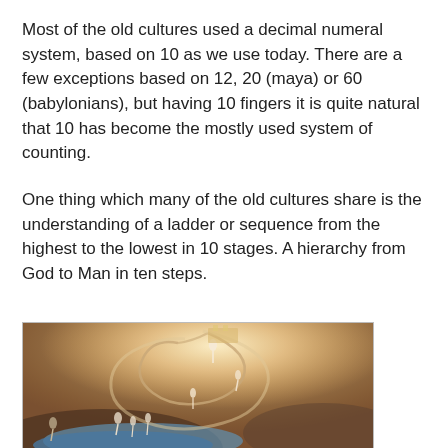Most of the old cultures used a decimal numeral system, based on 10 as we use today. There are a few exceptions based on 12, 20 (maya) or 60 (babylonians), but having 10 fingers it is quite natural that 10 has become the mostly used system of counting.
One thing which many of the old cultures share is the understanding of a ladder or sequence from the highest to the lowest in 10 stages. A hierarchy from God to Man in ten steps.
[Figure (illustration): A classical painting (William Blake style) depicting figures ascending and descending a spiral staircase or ladder, with a radiant golden light at the top representing the divine and figures at the bottom near water representing the earthly realm.]